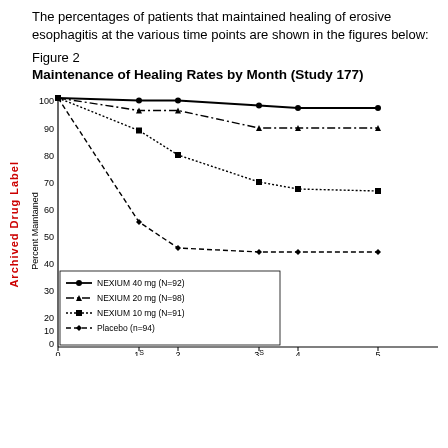The percentages of patients that maintained healing of erosive esophagitis at the various time points are shown in the figures below:
Figure 2
Maintenance of Healing Rates by Month (Study 177)
[Figure (line-chart): Maintenance of Healing Rates by Month (Study 177)]